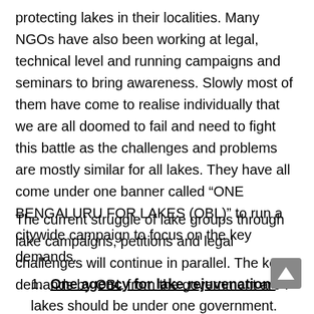protecting lakes in their localities. Many NGOs have also been working at legal, technical level and running campaigns and seminars to bring awareness. Slowly most of them have come to realise individually that we are all doomed to fail and need to fight this battle as the challenges and problems are mostly similar for all lakes. They have all come under one banner called “ONE BENGALURU FOR LAKES (OBL)” to run a citywide campaign to focus on the key demands.
The current struggle of lake groups through lake campaigns, petitions and legal challenges will continue in parallel. The key demands by OBL from the government are :
One agency for lake rejuvenation: All lakes should be under one government. agency which